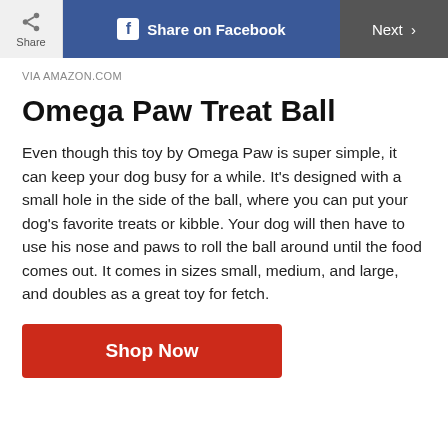Share | Share on Facebook | Next >
VIA AMAZON.COM
Omega Paw Treat Ball
Even though this toy by Omega Paw is super simple, it can keep your dog busy for a while. It's designed with a small hole in the side of the ball, where you can put your dog's favorite treats or kibble. Your dog will then have to use his nose and paws to roll the ball around until the food comes out. It comes in sizes small, medium, and large, and doubles as a great toy for fetch.
Shop Now